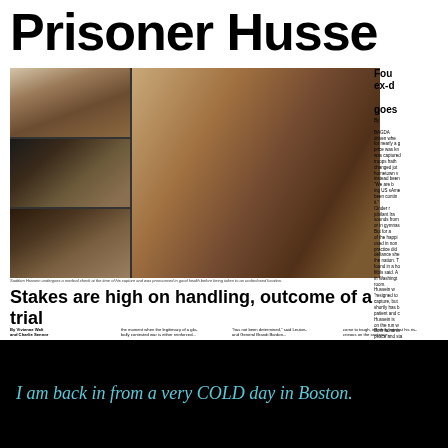Prisoner Husse
[Figure (photo): Newspaper page showing multiple photos of Saddam Hussein after his capture — three smaller photos on the left showing him being examined/cleaning teeth, and one large close-up portrait on the right showing his disheveled beard and hair]
Saddam Hussein undergoes a medical check at the time of his capture and was pronounced in good health before being taken to an undisclosed location.
Stakes are high on handling, outcome of a trial
By Vivienne Walt and Charlie Sennor
the moment when the legitimacy of a globally contested war is either reinforced...
"has not been determined," said Leuten- and General Brandi Bardon...
come to tough, indirectly against his ris- crieous on the sentence...
Found ex-d goes
I am back in from a very COLD day in Boston.